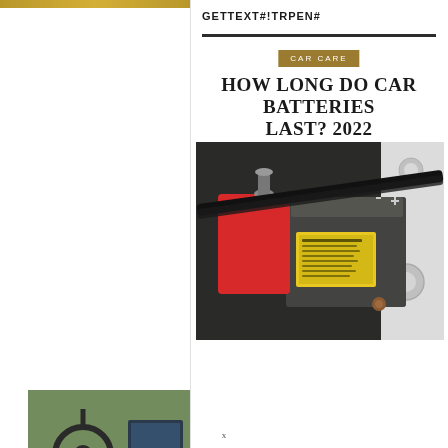GETTEXT#!TRPEN#
CAR CARE
HOW LONG DO CAR BATTERIES LAST? 2022
[Figure (photo): Car battery installed in engine bay, showing red positive terminal cover and yellow warning label]
[Figure (photo): Car interior showing steering wheel and dashboard]
[Figure (photo): Document or receipt with car-related content]